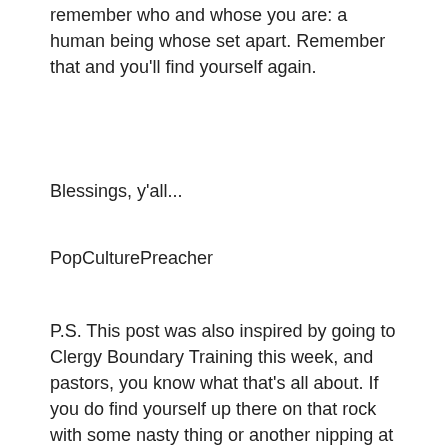remember who and whose you are: a human being whose set apart.  Remember that and you'll find yourself again.
Blessings, y'all...
PopCulturePreacher
P.S. This post was also inspired by going to Clergy Boundary Training this week, and pastors, you know what that's all about.  If you do find yourself up there on that rock with some nasty thing or another nipping at your heels, call a colleague.  Call your therapist.  Talk to your Spiritual Director.  Take an extra day off.  Take care of yourself.  As Parker